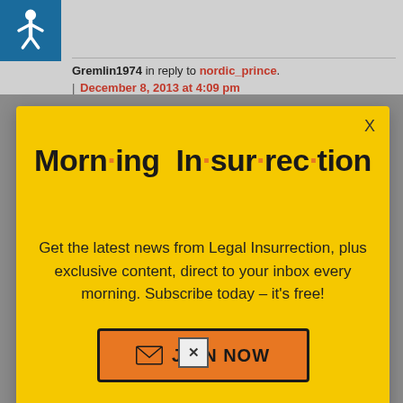Gremlin1974 in reply to nordic_prince. | December 8, 2013 at 4:09 pm
[Figure (screenshot): Morning Insurrection email subscription popup overlay on a webpage. Yellow background with bold black title 'Morn·ing In·sur·rec·tion' with orange dots. Text reads 'Get the latest news from Legal Insurrection, plus exclusive content, direct to your inbox every morning. Subscribe today – it's free!' with an orange JOIN NOW button.]
liberal septic[x]ks that are public
[Figure (infographic): THE PERSPECTIVE advertisement banner. Dark background with teal/yellow sections. Text: PERSP ROTIVE (mirrored), SEE WHAT YOU'RE MISSING, READ MORE button.]